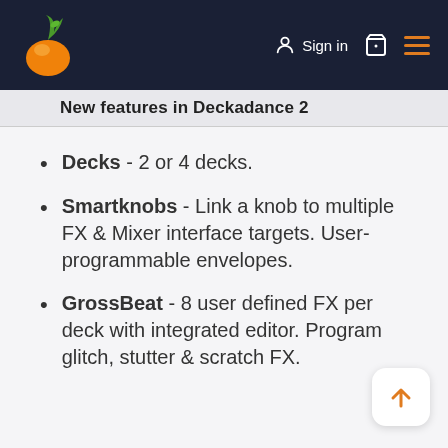FL Studio logo | Sign in | Cart | Menu
New features in Deckadance 2
Decks - 2 or 4 decks.
Smartknobs - Link a knob to multiple FX & Mixer interface targets. User-programmable envelopes.
GrossBeat - 8 user defined FX per deck with integrated editor. Program glitch, stutter & scratch FX.